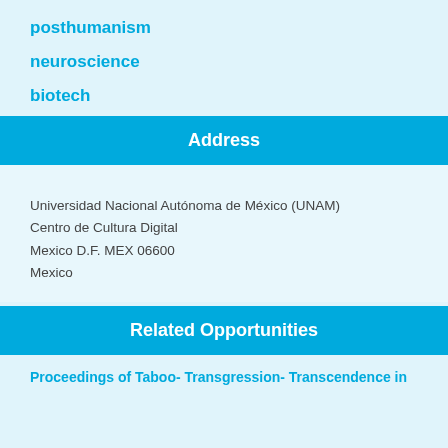posthumanism
neuroscience
biotech
Address
Universidad Nacional Autónoma de México (UNAM)
Centro de Cultura Digital
Mexico D.F. MEX 06600
Mexico
Related Opportunities
Proceedings of Taboo- Transgression- Transcendence in